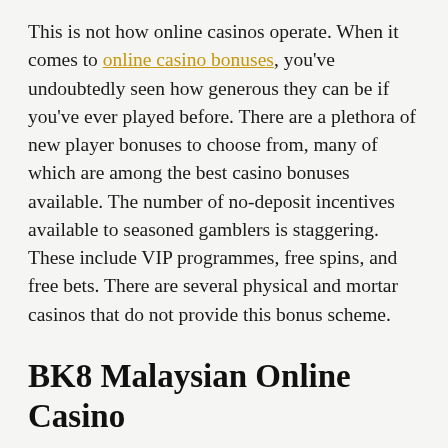This is not how online casinos operate. When it comes to online casino bonuses, you've undoubtedly seen how generous they can be if you've ever played before. There are a plethora of new player bonuses to choose from, many of which are among the best casino bonuses available. The number of no-deposit incentives available to seasoned gamblers is staggering. These include VIP programmes, free spins, and free bets. There are several physical and mortar casinos that do not provide this bonus scheme.
BK8 Malaysian Online Casino
One of the finest options for some gamblers is an online casino. BK8 is Asia's leading online betting agency, giving users access to the region's best casinos, sports bookmakers, the best online betting, all in...